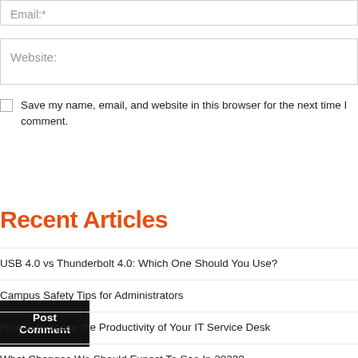Email:*
Website:
Save my name, email, and website in this browser for the next time I comment.
Post Comment
Recent Articles
USB 4.0 vs Thunderbolt 4.0: Which One Should You Use?
Campus Safety Tips for Administrators
How to Increase the Productivity of Your IT Service Desk
What Changes We Should Expect To See In 2023?
How Employer Misconduct Can Harm The Brand Of The Business